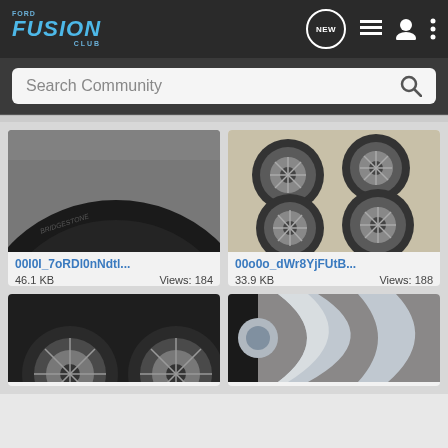Ford Fusion Club — navigation bar with logo, NEW button, list icon, user icon, more icon
Search Community
[Figure (photo): Close-up of a tire sidewall and wheel rim on pavement. File: 00I0I_7oRDl0nNdtl..., 46.1 KB, Views: 184]
[Figure (photo): Four wheels with multi-spoke rims arranged in a 2x2 layout on a driveway. File: 00o0o_dWr8YjFUtB..., 33.9 KB, Views: 188]
[Figure (photo): Two wheels with multi-spoke rims on a dark surface, partial view at bottom of page.]
[Figure (photo): Close-up of a large chrome wheel spoke, partial view at bottom right of page.]